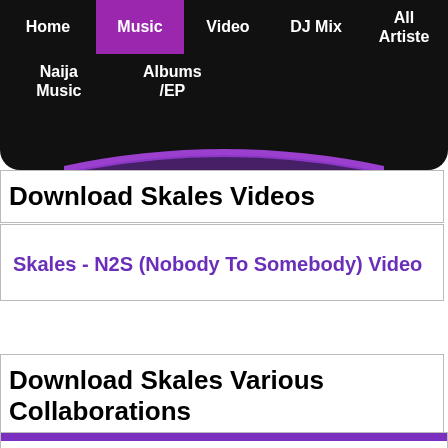Home | Music | Video | DJ Mix | All Artiste | Naija Music | Albums /EP
[Figure (screenshot): Purple arc decorative element at bottom of navigation bar]
Download Skales Videos
Skales - N2S (Nobody To Somebody) Video
Download Skales Various Collaborations
[Figure (other): Partial purple bar at bottom of page, start of another card]